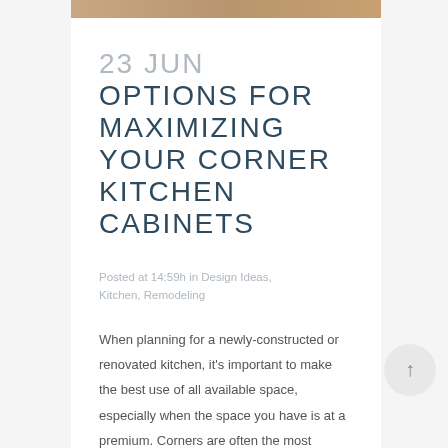[Figure (photo): Partial view of a kitchen photo strip at the top of the page]
23 JUN OPTIONS FOR MAXIMIZING YOUR CORNER KITCHEN CABINETS
Posted at 14:59h in Design Ideas, Kitchen, Remodeling
When planning for a newly-constructed or renovated kitchen, it's important to make the best use of all available space, especially when the space you have is at a premium. Corners are often the most